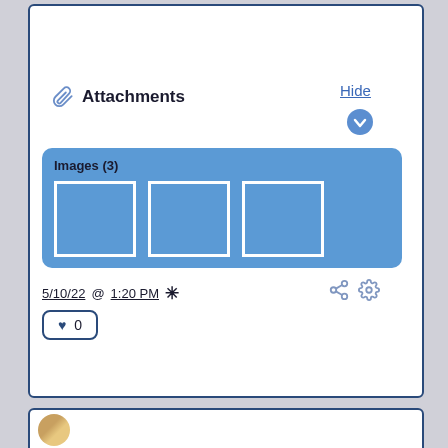Attachments
Hide
[Figure (screenshot): Blue panel labeled 'Images (3)' containing three image thumbnail placeholders with white borders on a blue background]
5/10/22 @ 1:20 PM *
[Figure (infographic): Share icon and gear/settings icon]
♥ 0
[Figure (photo): Partial view of a circular avatar/profile photo with warm golden tones, bottom card partially visible]